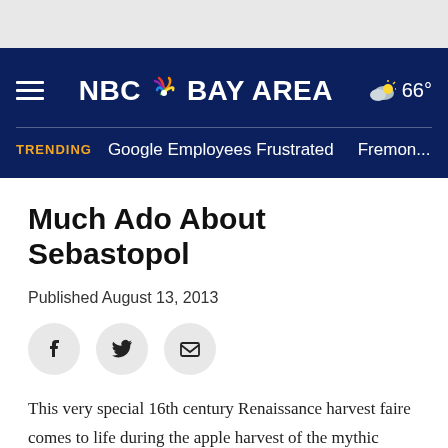NBC BAY AREA | 66° | TRENDING: Google Employees Frustrated | Fremon...
Much Ado About Sebastopol
Published August 13, 2013
This very special 16th century Renaissance harvest faire comes to life during the apple harvest of the mythic hamlet of Fenford. Two days of historical re-enactments, entertainment, games and refreshments for the